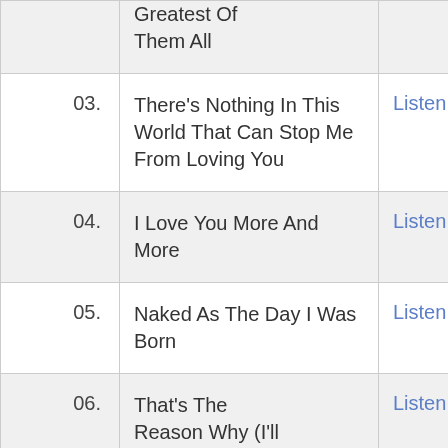| # | Title | Action |
| --- | --- | --- |
|  | Greatest Of Them All |  |
| 03. | There's Nothing In This World That Can Stop Me From Loving You | Listen |
| 04. | I Love You More And More | Listen |
| 05. | Naked As The Day I Was Born | Listen |
| 06. | That's The Reason Why (I'll... | Listen |